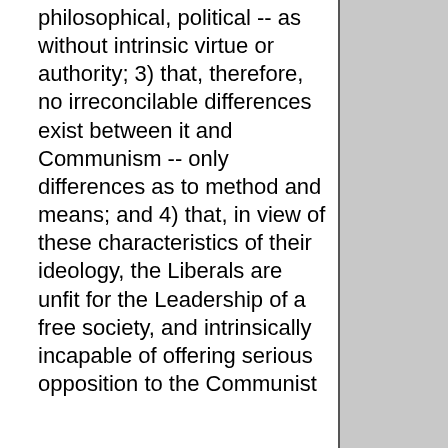philosophical, political -- as without intrinsic virtue or authority; 3) that, therefore, no irreconcilable differences exist between it and Communism -- only differences as to method and means; and 4) that, in view of these characteristics of their ideology, the Liberals are unfit for the Leadership of a free society, and intrinsically incapable of offering serious opposition to the Communist